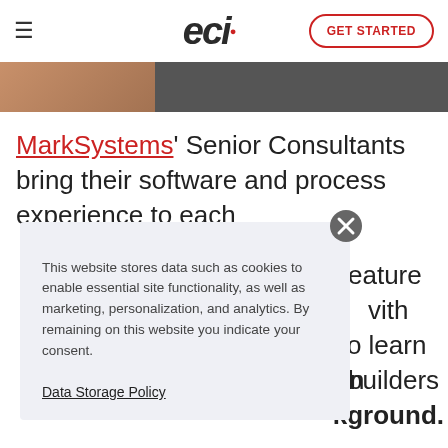eci GET STARTED
[Figure (photo): Partial photo of a person in blue/grey clothing with a dark overlay strip]
MarkSystems' Senior Consultants bring their software and process experience to each implementation, which feature …with …a to learn …ation …builders …kground.
This website stores data such as cookies to enable essential site functionality, as well as marketing, personalization, and analytics. By remaining on this website you indicate your consent.
Data Storage Policy